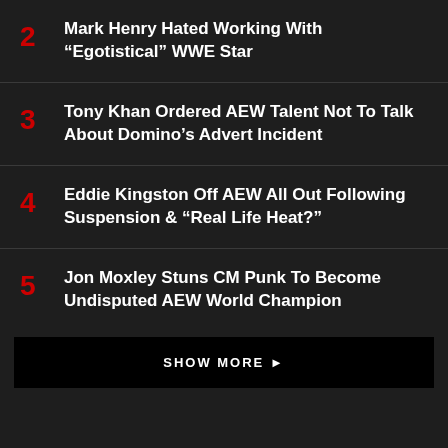2  Mark Henry Hated Working With “Egotistical” WWE Star
3  Tony Khan Ordered AEW Talent Not To Talk About Domino’s Advert Incident
4  Eddie Kingston Off AEW All Out Following Suspension & “Real Life Heat?”
5  Jon Moxley Stuns CM Punk To Become Undisputed AEW World Champion
SHOW MORE ▶